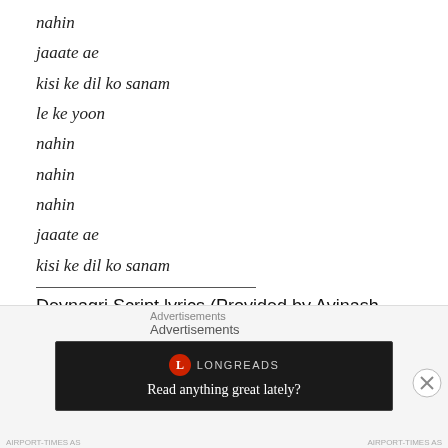nahin
jaaate ae
kisi ke dil ko sanam
le ke yoon
nahin
nahin
nahin
jaaate ae
kisi ke dil ko sanam
Devnagri Script lyrics (Provided by Avinash Scrapwala)
Advertisements
Advertisements
[Figure (other): Longreads advertisement banner with dark background, Longreads logo, and text 'Read anything great lately?']